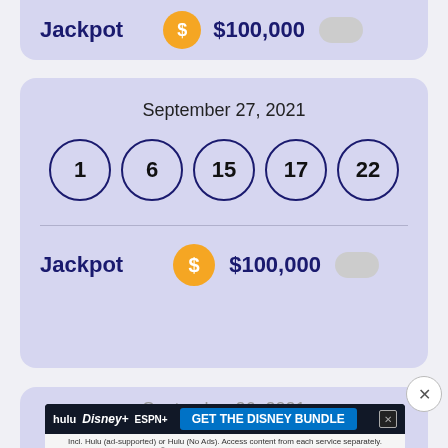Jackpot  $  $100,000
September 27, 2021
[Figure (other): Five lottery balls in a row showing numbers 1, 6, 15, 17, 22]
Jackpot  $  $100,000
September 26, 2021
[Figure (other): Advertisement banner: hulu Disney+ ESPN+ GET THE DISNEY BUNDLE. Incl. Hulu (ad-supported) or Hulu (No Ads). Access content from each service separately. ©2021 Disney and its related entities]